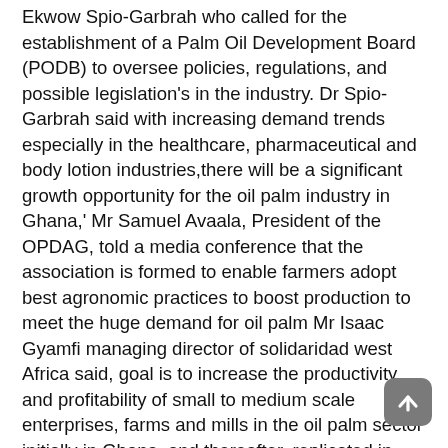Ekwow Spio-Garbrah who called for the establishment of a Palm Oil Development Board (PODB) to oversee policies, regulations, and possible legislation's in the industry. Dr Spio-Garbrah said with increasing demand trends especially in the healthcare, pharmaceutical and body lotion industries,there will be a significant growth opportunity for the oil palm industry in Ghana,' Mr Samuel Avaala, President of the OPDAG, told a media conference that the association is formed to enable farmers adopt best agronomic practices to boost production to meet the huge demand for oil palm Mr Isaac Gyamfi managing director of solidaridad west Africa said, goal is to increase the productivity and profitability of small to medium scale enterprises, farms and mills in the oil palm sector initially in Ghana, and thereafter, replicated in other West African countries. The royal Dutch Ambassador in Ghana, Hans Docter charge on the association to strive hard as oil palm business has a lot of financial gains. The oil palm association of Ghana is a business registered under the laws of Ghana and formed under the umbrella of